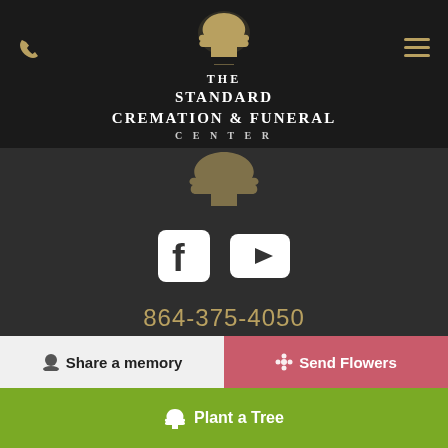[Figure (logo): The Standard Cremation & Funeral Center logo with gold tree icon and white text on dark background]
[Figure (illustration): Gold tree silhouette watermark]
[Figure (other): Facebook and YouTube social media icons (white rounded squares)]
864-375-4050
The Standard Cremation & Funeral Center
1621 Pearman Dairy Road
Anderson SC 29625
Fax:  864-375-4051
info@standardfuneralcenter.com
💬 Share a memory
✿ Send Flowers
🌳 Plant a Tree